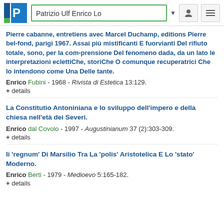Patrizio Ulf Enrico Lo
Pierre cabanne, entretiens avec Marcel Duchamp, editions Pierre bel-fond, parigi 1967. Assai più mistificanti E fuorvianti Del rifiuto totale, sono, per la com-prensione Del fenomeno dada, da un lato le interpretazioni eclettiChe, storiChe O comunque recuperatrici Che lo intendono come Una Delle tante.
Enrico Fubini - 1968 - Rivista di Estetica 13:129.
+ details
La Constitutio Antoniniana e lo sviluppo dell'impero e della chiesa nell'età dei Severi.
Enrico dal Covolo - 1997 - Augustinianum 37 (2):303-309.
+ details
Ii 'regnum' Di Marsilio Tra La 'polis' Aristotelica E Lo 'stato' Moderno.
Enrico Berti - 1979 - Medioevo 5:165-182.
+ details